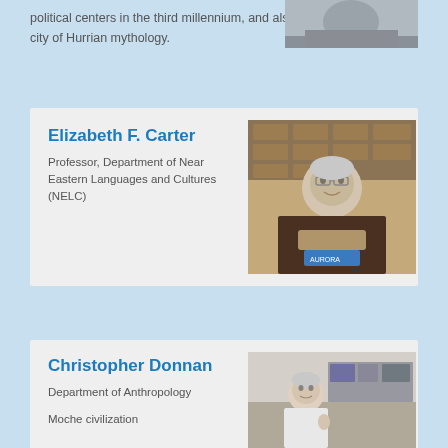political centers in the third millennium, and also as the holy city of Hurrian mythology.
[Figure (photo): Photo of a person at top right]
Elizabeth F. Carter
Professor, Department of Near Eastern Languages and Cultures (NELC)
[Figure (photo): Photo of Elizabeth F. Carter holding artifacts in front of museum drawers]
Christopher Donnan
Department of Anthropology
Moche civilization
[Figure (photo): Photo of Christopher Donnan in an office/lab setting]